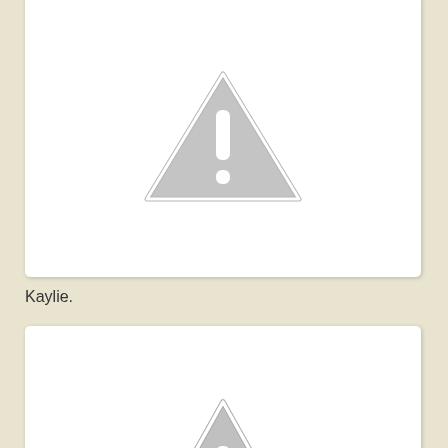[Figure (photo): Placeholder image with grey warning triangle icon — photo of Kaylie (cropped at top)]
Kaylie.
[Figure (photo): Placeholder image with grey warning triangle icon — photo of birthday boy with Chandler and cousin William]
Birthday boy with Chandler and cousin William. The boys built little lego sets…
[Figure (photo): Placeholder image — partially visible at bottom of page]